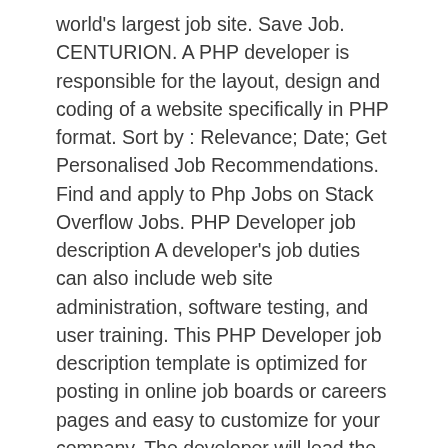world's largest job site. Save Job. CENTURION. A PHP developer is responsible for the layout, design and coding of a website specifically in PHP format. Sort by : Relevance; Date; Get Personalised Job Recommendations. Find and apply to Php Jobs on Stack Overflow Jobs. PHP Developer job description A developer's job duties can also include web site administration, software testing, and user training. This PHP Developer job description template is optimized for posting in online job boards or careers pages and easy to customize for your company. The developer will lead the entire app lifecycle right from concept stage until delivery and post launch support. Monday - Friday No OT 5 Jobs View our company page. Available in. Full Stack Developer Job Description. Full Stack PHP Developer Overview VehicleVision is looking for a highly enthusiastic and